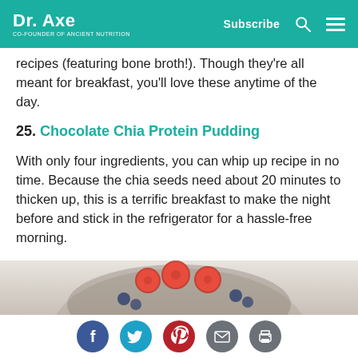Dr. Axe | Co-Founder of Ancient Nutrition | Subscribe
recipes (featuring bone broth!). Though they're all meant for breakfast, you'll love these anytime of the day.
25. Chocolate Chia Protein Pudding
With only four ingredients, you can whip up recipe in no time. Because the chia seeds need about 20 minutes to thicken up, this is a terrific breakfast to make the night before and stick in the refrigerator for a hassle-free morning.
[Figure (photo): A bowl of chocolate chia protein pudding topped with fresh raspberries and blueberries.]
Social share icons: Facebook, Twitter, Pinterest, Email, Print